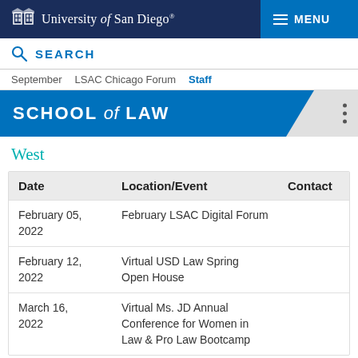University of San Diego — SCHOOL of LAW
SEARCH
September   LSAC Chicago Forum   Staff
SCHOOL of LAW
West
| Date | Location/Event | Contact |
| --- | --- | --- |
| February 05, 2022 | February LSAC Digital Forum |  |
| February 12, 2022 | Virtual USD Law Spring Open House |  |
| March 16, 2022 | Virtual Ms. JD Annual Conference for Women in Law & Pro Law Bootcamp |  |